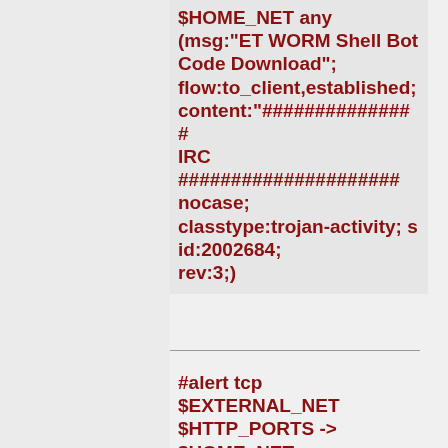$HOME_NET any (msg:"ET WORM Shell Bot Code Download"; flow:to_client,established; content:"##############IRC #####################nocase; classtype:trojan-activity; sid:2002684; rev:3;)
Added 2008-01-31 10:12:24 UTC
#alert tcp $EXTERNAL_NET $HTTP_PORTS -> $HOME_NET any